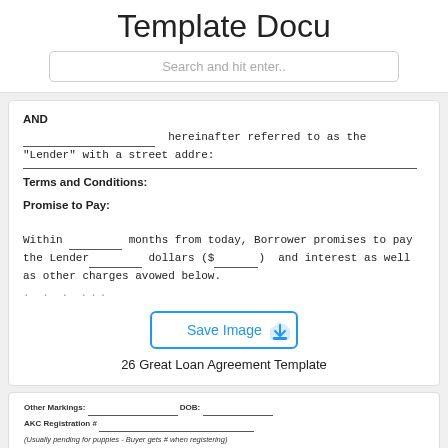Template Docu
Search and hit enter..
AND
___________________ hereinafter referred to as the "Lender" with a street addre:
___________________________________________________________________
Terms and Conditions:
Promise to Pay:
Within _______ months from today, Borrower promises to pay the Lender_______ dollars ($________) and interest as well as other charges avowed below.
. . . ...
[Figure (screenshot): Save Image button with cloud upload icon]
26 Great Loan Agreement Template
| Other Markings: _____________________ DOB: _______________ |
| AKC Registration # ___________________________________ |
| (Usually pending for puppies - Buyer gets # when registering) |
| AKC Litter Registration # ____________________________ |
| Sire: ____________________________________________ |
| Reg. # ______________________________ |
| Dam: ____________________________________________ |
| Reg. # ____________________________ |